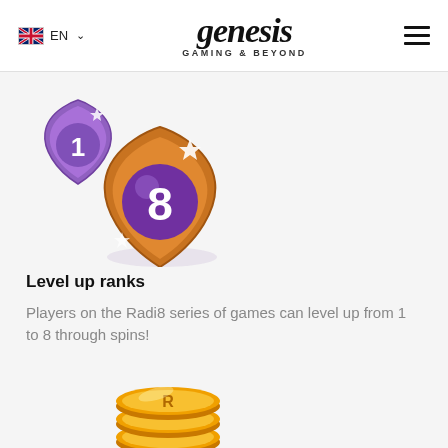EN | genesis GAMING & BEYOND
[Figure (illustration): Two shield-shaped rank badges stacked: a smaller purple/lavender shield with number 1, overlapping a larger bronze/purple shield with number 8, with sparkle effects]
Level up ranks
Players on the Radi8 series of games can level up from 1 to 8 through spins!
[Figure (illustration): Stack of gold coins with the letter R embossed on them, styled as reward coins]